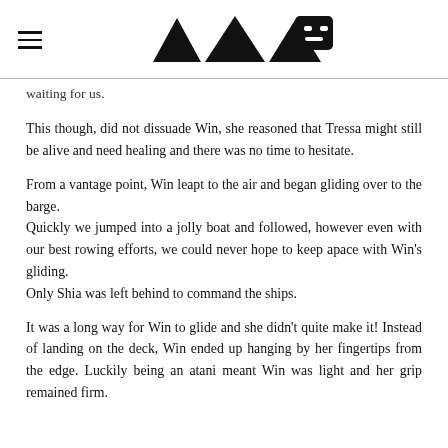[hamburger menu icon] [logo: four triangles and a robot/character icon]
waiting for us.
This though, did not dissuade Win, she reasoned that Tressa might still be alive and need healing and there was no time to hesitate.
From a vantage point, Win leapt to the air and began gliding over to the barge.
Quickly we jumped into a jolly boat and followed, however even with our best rowing efforts, we could never hope to keep apace with Win's gliding.
Only Shia was left behind to command the ships.
It was a long way for Win to glide and she didn't quite make it! Instead of landing on the deck, Win ended up hanging by her fingertips from the edge. Luckily being an atani meant Win was light and her grip remained firm.